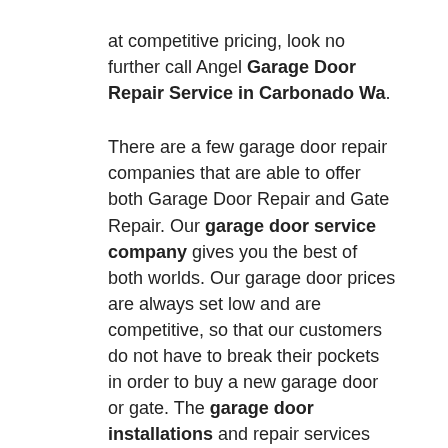at competitive pricing, look no further call Angel Garage Door Repair Service in Carbonado Wa. There are a few garage door repair companies that are able to offer both Garage Door Repair and Gate Repair. Our garage door service company gives you the best of both worlds. Our garage door prices are always set low and are competitive, so that our customers do not have to break their pockets in order to buy a new garage door or gate. The garage door installations and repair services that we offer are also set at an affordable rates .If you're interested in receiving our garage door repairs and other services, please give us a call 24/7.